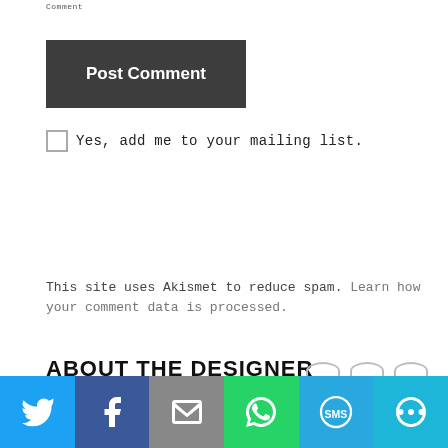Comment
Post Comment
Yes, add me to your mailing list.
This site uses Akismet to reduce spam. Learn how your comment data is processed.
ABOUT THE DESIGNER
[Figure (infographic): Social sharing bar with Twitter, Facebook, Email, WhatsApp, SMS, and More buttons]